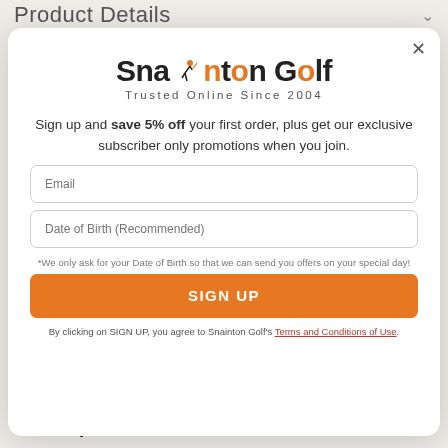Product Details
[Figure (logo): Snainton Golf logo with golfer icon and tagline 'Trusted Online Since 2004']
Sign up and save 5% off your first order, plus get our exclusive subscriber only promotions when you join.
Email
Date of Birth (Recommended)
*We only ask for your Date of Birth so that we can send you offers on your special day!
SIGN UP
By clicking on SIGN UP, you agree to Snainton Golf's Terms and Conditions of Use.
INFINITY a split tooling look but is designed to stabilise movement and is optimized for flexibility